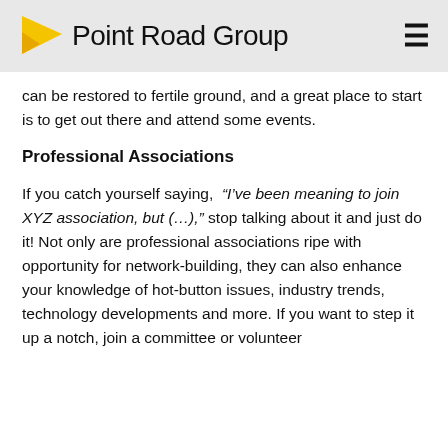Point Road Group
can be restored to fertile ground, and a great place to start is to get out there and attend some events.
Professional Associations
If you catch yourself saying, “I’ve been meaning to join XYZ association, but (…),” stop talking about it and just do it! Not only are professional associations ripe with opportunity for network-building, they can also enhance your knowledge of hot-button issues, industry trends, technology developments and more. If you want to step it up a notch, join a committee or volunteer